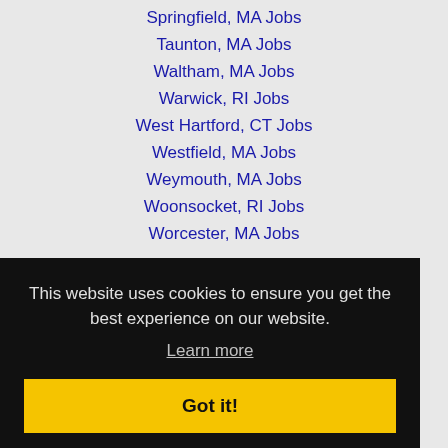Springfield, MA Jobs
Taunton, MA Jobs
Waltham, MA Jobs
Warwick, RI Jobs
West Hartford, CT Jobs
Westfield, MA Jobs
Weymouth, MA Jobs
Woonsocket, RI Jobs
Worcester, MA Jobs
This website uses cookies to ensure you get the best experience on our website.
Learn more
Got it!